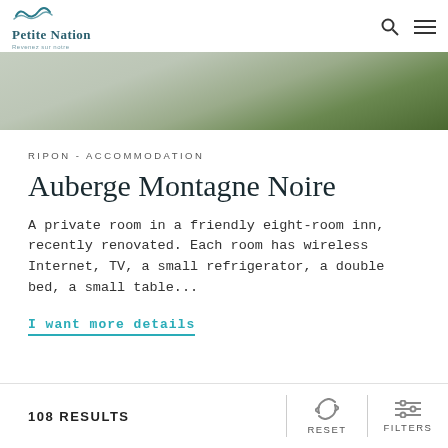Petite Nation — Revenez sur notre
[Figure (photo): Outdoor pathway with concrete surface and green hedges/vegetation, partially cropped top view]
RIPON - ACCOMMODATION
Auberge Montagne Noire
A private room in a friendly eight-room inn, recently renovated. Each room has wireless Internet, TV, a small refrigerator, a double bed, a small table...
I want more details
108 RESULTS    RESET    FILTERS